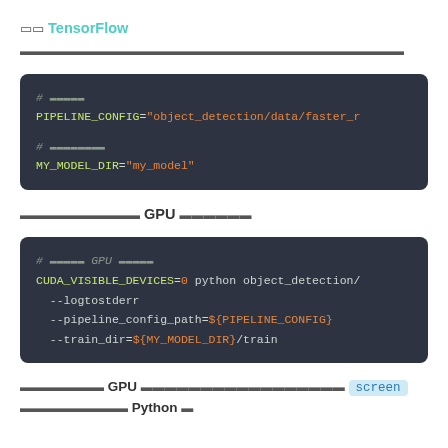□□ TensorFlow □□□□□□□□□□□□□□□□□□□□□□□□□□□□□
[Figure (screenshot): Dark code block showing shell script variables: # □□□□□ PIPELINE_CONFIG="object_detection/data/faster_r..." # □□□□□□□□ MY_MODEL_DIR="my_model"]
□□□□□□□□□□ GPU □□□□□□
[Figure (screenshot): Dark code block showing shell command: # □□□□□ GPU □□□□□□ CUDA_VISIBLE_DEVICES=0 python object_detection/ --logtostderr --pipeline_config_path=${PIPELINE_CONFIG} --train_dir=${MY_MODEL_DIR}/train]
□□□□□□□ GPU □□□□□□□□□□□□□□□□□□ screen □□□□□□□□□ Python □